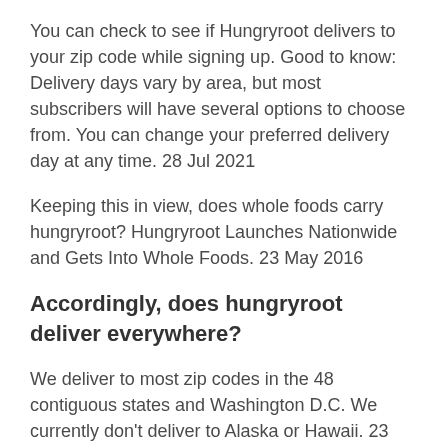You can check to see if Hungryroot delivers to your zip code while signing up. Good to know: Delivery days vary by area, but most subscribers will have several options to choose from. You can change your preferred delivery day at any time. 28 Jul 2021
Keeping this in view, does whole foods carry hungryroot? Hungryroot Launches Nationwide and Gets Into Whole Foods. 23 May 2016
Accordingly, does hungryroot deliver everywhere?
We deliver to most zip codes in the 48 contiguous states and Washington D.C. We currently don't deliver to Alaska or Hawaii. 23 Nov 2021
Subsequently, what day is hungryroot delivered? If you